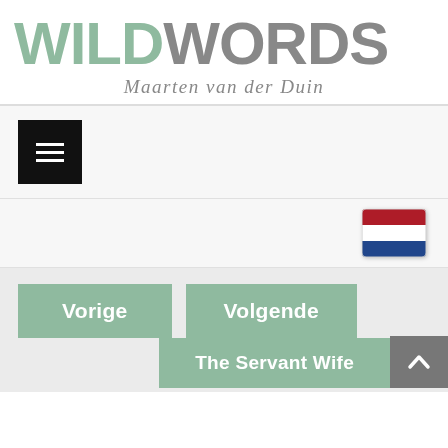WILDWORDS Maarten van der Duin
[Figure (other): Black hamburger menu button with three horizontal white lines]
[Figure (other): Netherlands flag emoji/icon — red, white, blue horizontal stripes with rounded corners]
Vorige
Volgende
The Servant Wife